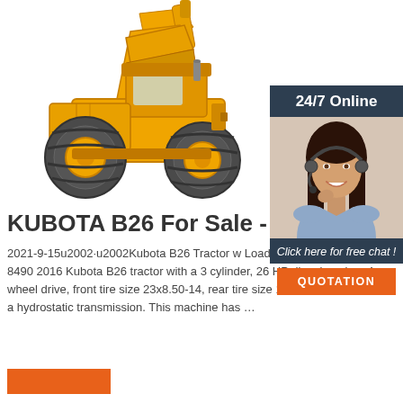[Figure (photo): Yellow Kubota wheel loader / front-end loader machine on white background]
[Figure (photo): Customer service agent sidebar: dark blue panel with '24/7 Online' header, photo of smiling woman with headset, 'Click here for free chat!' text, and orange QUOTATION button]
KUBOTA B26 For Sale - 1 Lis...
2021-9-15u2002·u2002Kubota B26 Tractor w Loader and Backhoe Stock# 8490 2016 Kubota B26 tractor with a 3 cylinder, 26 HP diesel engine, 4 wheel drive, front tire size 23x8.50-14, rear tire size 12.4x16, 540 PTO, and a hydrostatic transmission. This machine has …